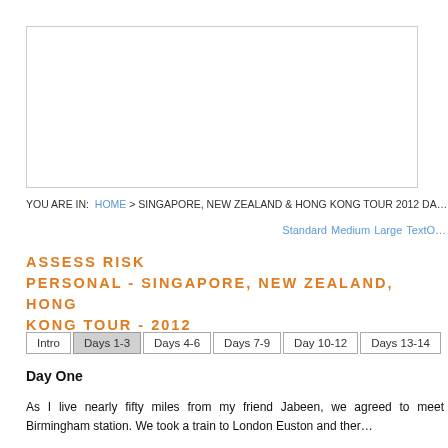[Figure (other): Advertisement banner placeholder box (empty white box with border)]
YOU ARE IN:   HOME > SINGAPORE, NEW ZEALAND & HONG KONG TOUR 2012 DA...
Standard  Medium  Large  TextO...
ASSESS RISK PERSONAL - SINGAPORE, NEW ZEALAND, HONG KONG TOUR - 2012
Intro
Days 1-3
Days 4-6
Days 7-9
Day 10-12
Days 13-14
Day One
As I live nearly fifty miles from my friend Jabeen, we agreed to meet Birmingham station. We took a train to London Euston and ther...